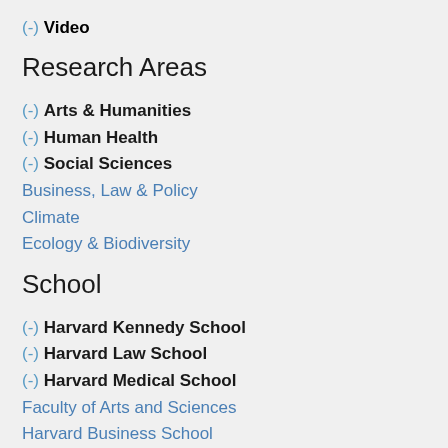(-) Video
Research Areas
(-) Arts & Humanities
(-) Human Health
(-) Social Sciences
Business, Law & Policy
Climate
Ecology & Biodiversity
School
(-) Harvard Kennedy School
(-) Harvard Law School
(-) Harvard Medical School
Faculty of Arts and Sciences
Harvard Business School
Harvard T.H. Chan School of Public Health